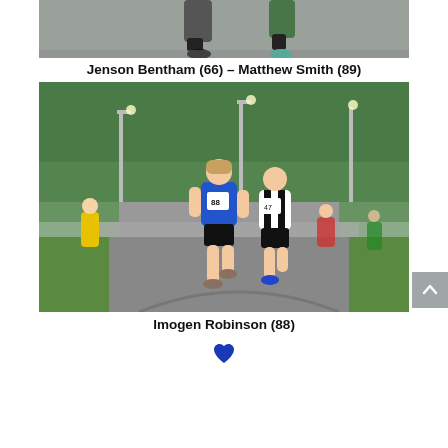[Figure (photo): Cropped top portion of runners on a road – shows legs and shoes of runners, one in green shoes, another in blue/teal shoes.]
Jenson Bentham (66) – Matthew Smith (89)
[Figure (photo): A young girl in a blue running vest with bib number 88 leading a race on a park path, followed by a boy in black and white striped kit, with other runners and spectators in background.]
Imogen Robinson (88)
[Figure (illustration): A small blue heart symbol.]